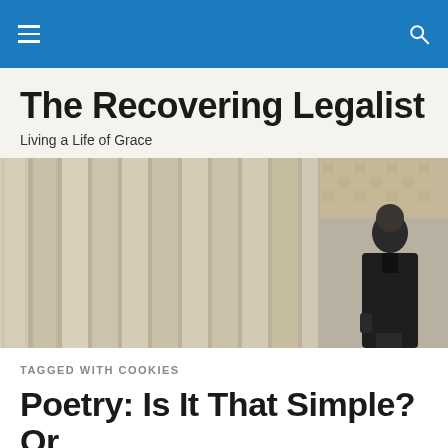The Recovering Legalist [navigation bar with hamburger menu and search icon]
The Recovering Legalist
Living a Life of Grace
[Figure (photo): A bald man in a dark suit jacket standing near large classical stone columns, looking upward to the right.]
TAGGED WITH COOKIES
Poetry: Is It That Simple? Or,
Do Cooling Cookies ha…
Follow • •••